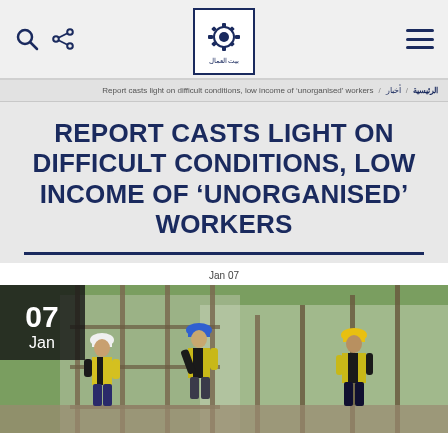Bait Al Ummal — navigation header with search, share, logo, and menu icons
الرئيسية / أخبار / Report casts light on difficult conditions, low income of 'unorganised' workers
REPORT CASTS LIGHT ON DIFFICULT CONDITIONS, LOW INCOME OF 'UNORGANISED' WORKERS
Jan 07
[Figure (photo): Construction workers in yellow safety vests and hard hats working at a building site with scaffolding poles. Date overlay shows '07 Jan'.]